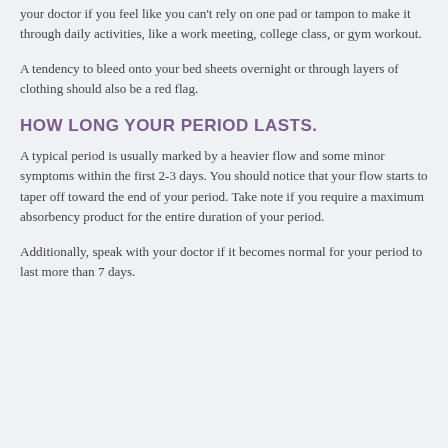your doctor if you feel like you can't rely on one pad or tampon to make it through daily activities, like a work meeting, college class, or gym workout.
A tendency to bleed onto your bed sheets overnight or through layers of clothing should also be a red flag.
HOW LONG YOUR PERIOD LASTS.
A typical period is usually marked by a heavier flow and some minor symptoms within the first 2-3 days. You should notice that your flow starts to taper off toward the end of your period. Take note if you require a maximum absorbency product for the entire duration of your period.
Additionally, speak with your doctor if it becomes normal for your period to last more than 7 days.